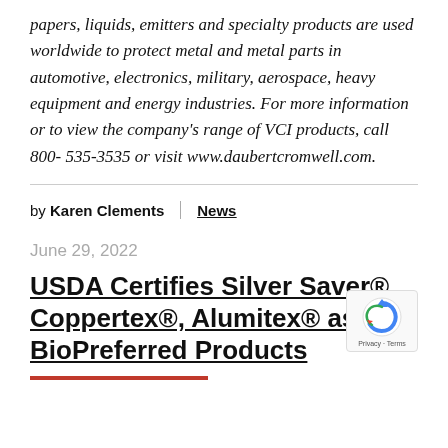papers, liquids, emitters and specialty products are used worldwide to protect metal and metal parts in automotive, electronics, military, aerospace, heavy equipment and energy industries. For more information or to view the company's range of VCI products, call 800- 535-3535 or visit www.daubertcromwell.com.
by Karen Clements | News
June 29, 2022
USDA Certifies Silver Saver®, Coppertex®, Alumitex® as BioPreferred Products